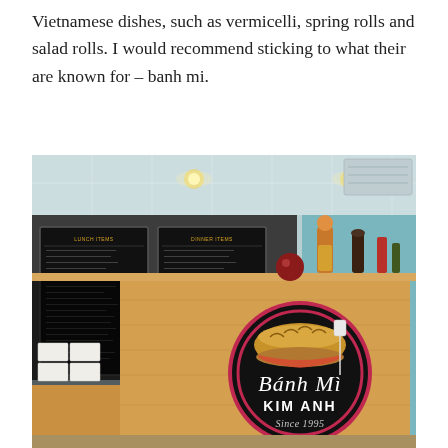Vietnamese dishes, such as vermicelli, spring rolls and salad rolls. I would recommend sticking to what their are known for – banh mi.
[Figure (photo): Interior photo of Bánh Mì Kim Anh restaurant showing the front counter made of light wood, black menu boards on the back wall, decorative figurines and items on top of the counter divider, and a circular black logo sign reading 'Bánh Mì KIM ANH Since 1995' with an illustration of a baguette sandwich.]